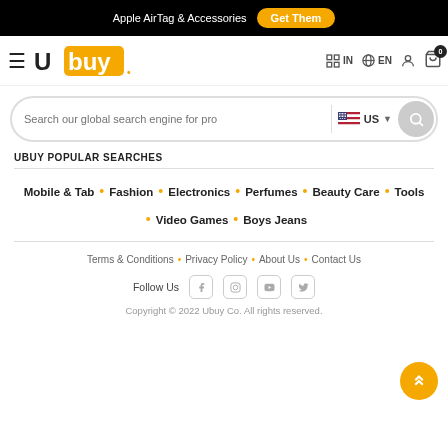Apple AirTag & Accessories  Get Them
[Figure (logo): Ubuy logo with hamburger menu, country selector IN, language EN, user icon, cart icon with badge 0]
Search our global search engine for pro  US
UBUY POPULAR SEARCHES
Mobile & Tab • Fashion • Electronics • Perfumes • Beauty Care • Tools • Video Games • Boys Jeans
Terms & Conditions • Privacy Policy • About Us • Contact Us
Follow Us
Copyright © 2022 Ubuy Co. All rights reserved.